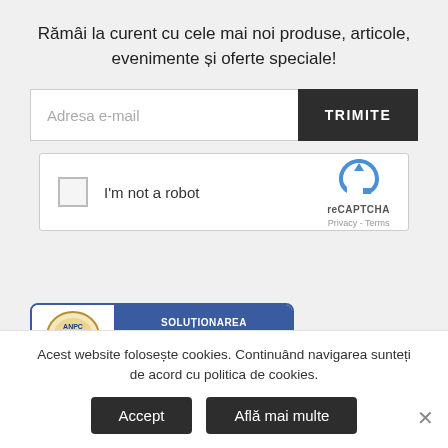Rămâi la curent cu cele mai noi produse, articole, evenimente și oferte speciale!
[Figure (screenshot): Email input field with placeholder 'Adresa e-mail' and a dark TRIMITE button]
[Figure (screenshot): reCAPTCHA widget with checkbox labeled 'I'm not a robot' and reCAPTCHA logo with Privacy - Terms text]
[Figure (logo): ANPC badge showing coat of arms logo and text 'SOLUȚIONAREA ALTERNATIVĂ A LITIGIILOR' on blue background]
Acest website folosește cookies. Continuând navigarea sunteți de acord cu politica de cookies.
Accept
Află mai multe